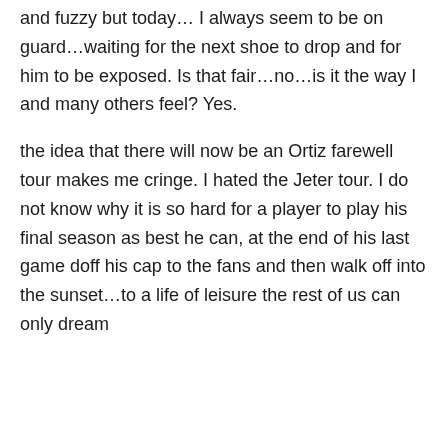and fuzzy but today… I always seem to be on guard…waiting for the next shoe to drop and for him to be exposed. Is that fair…no…is it the way I and many others feel? Yes.
the idea that there will now be an Ortiz farewell tour makes me cringe. I hated the Jeter tour. I do not know why it is so hard for a player to play his final season as best he can, at the end of his last game doff his cap to the fans and then walk off into the sunset…to a life of leisure the rest of us can only dream